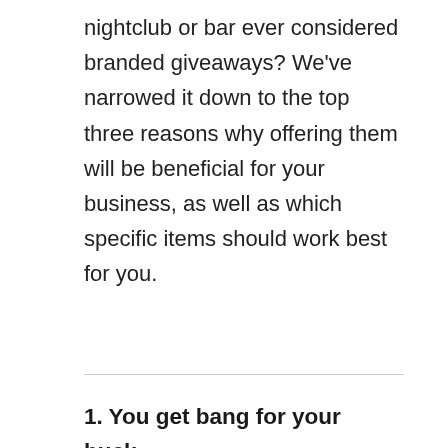nightclub or bar ever considered branded giveaways? We've narrowed it down to the top three reasons why offering them will be beneficial for your business, as well as which specific items should work best for you.
1. You get bang for your buck.
Choosing the appropriate branded item doesn't have to break the bank, and for the benefits that come from it, it's worth the (small) investment. Plus, just because the cost is low does not mean you're sacrificing its promotional effectiveness! Sites like Quality Logo Products, Motivators and Custom On